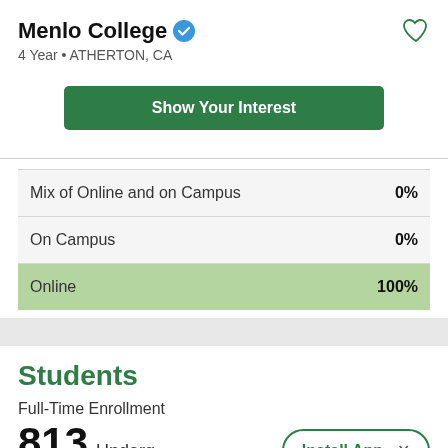Menlo College
4 Year • ATHERTON, CA
Show Your Interest
| Category | Percentage |
| --- | --- |
| Mix of Online and on Campus | 0% |
| On Campus | 0% |
| Online | 100% |
Students
Full-Time Enrollment
813 Undergrad
Install App